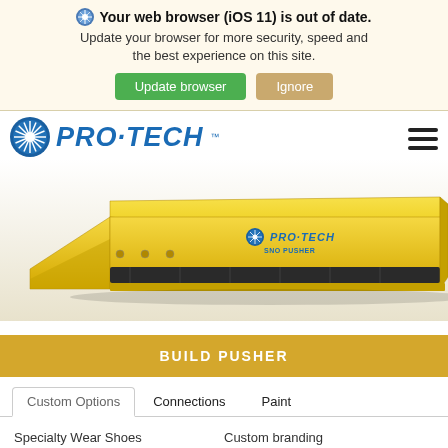Your web browser (iOS 11) is out of date. Update your browser for more security, speed and the best experience on this site. Update browser | Ignore
[Figure (logo): Pro-Tech logo with star icon and blue italic text PRO·TECH]
[Figure (photo): Yellow snow pusher blade product photo with PRO-TECH SNOW PUSHER branding]
BUILD PUSHER
Custom Options   Connections   Paint
Specialty Wear Shoes   Custom branding